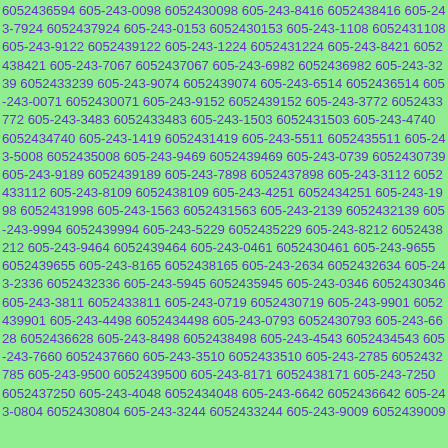6052436594 605-243-0098 6052430098 605-243-8416 6052438416 605-243-7924 6052437924 605-243-0153 6052430153 605-243-1108 6052431108 605-243-9122 6052439122 605-243-1224 6052431224 605-243-8421 6052438421 605-243-7067 6052437067 605-243-6982 6052436982 605-243-3239 6052433239 605-243-9074 6052439074 605-243-6514 6052436514 605-243-0071 6052430071 605-243-9152 6052439152 605-243-3772 6052433772 605-243-3483 6052433483 605-243-1503 6052431503 605-243-4740 6052434740 605-243-1419 6052431419 605-243-5511 6052435511 605-243-5008 6052435008 605-243-9469 6052439469 605-243-0739 6052430739 605-243-9189 6052439189 605-243-7898 6052437898 605-243-3112 6052433112 605-243-8109 6052438109 605-243-4251 6052434251 605-243-1998 6052431998 605-243-1563 6052431563 605-243-2139 6052432139 605-243-9994 6052439994 605-243-5229 6052435229 605-243-8212 6052438212 605-243-9464 6052439464 605-243-0461 6052430461 605-243-9655 6052439655 605-243-8165 6052438165 605-243-2634 6052432634 605-243-2336 6052432336 605-243-5945 6052435945 605-243-0346 6052430346 605-243-3811 6052433811 605-243-0719 6052430719 605-243-9901 6052439901 605-243-4498 6052434498 605-243-0793 6052430793 605-243-6628 6052436628 605-243-8498 6052438498 605-243-4543 6052434543 605-243-7660 6052437660 605-243-3510 6052433510 605-243-2785 6052432785 605-243-9500 6052439500 605-243-8171 6052438171 605-243-7250 6052437250 605-243-4048 6052434048 605-243-6642 6052436642 605-243-0804 6052430804 605-243-3244 6052433244 605-243-9009 6052439009